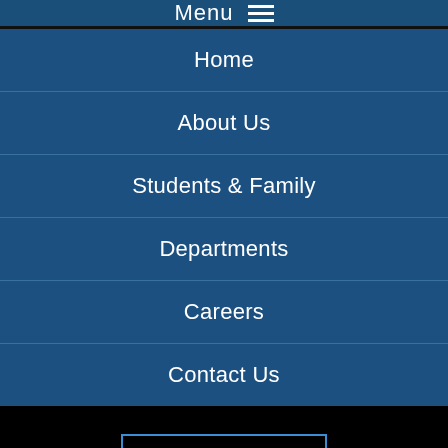Menu
Home
About Us
Students & Family
Departments
Careers
Contact Us
SIGN IN
Blackboard